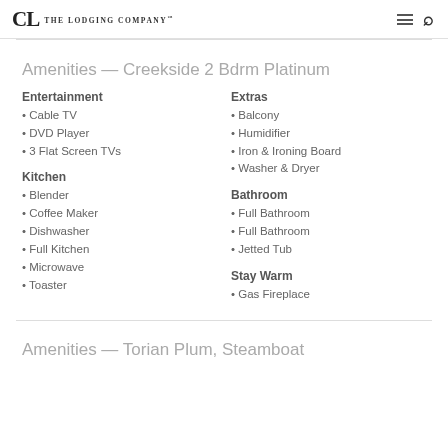The Lodging Company
Amenities — Creekside 2 Bdrm Platinum
Entertainment
Cable TV
DVD Player
3 Flat Screen TVs
Kitchen
Blender
Coffee Maker
Dishwasher
Full Kitchen
Microwave
Toaster
Extras
Balcony
Humidifier
Iron & Ironing Board
Washer & Dryer
Bathroom
Full Bathroom
Full Bathroom
Jetted Tub
Stay Warm
Gas Fireplace
Amenities — Torian Plum, Steamboat